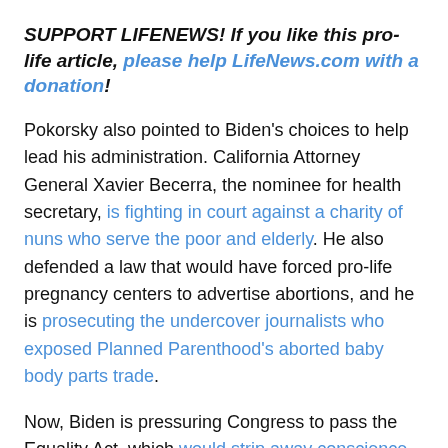SUPPORT LIFENEWS! If you like this pro-life article, please help LifeNews.com with a donation!
Pokorsky also pointed to Biden's choices to help lead his administration. California Attorney General Xavier Becerra, the nominee for health secretary, is fighting in court against a charity of nuns who serve the poor and elderly. He also defended a law that would have forced pro-life pregnancy centers to advertise abortions, and he is prosecuting the undercover journalists who exposed Planned Parenthood's aborted baby body parts trade.
Now, Biden is pressuring Congress to pass the Equality Act, which would strip away conscience